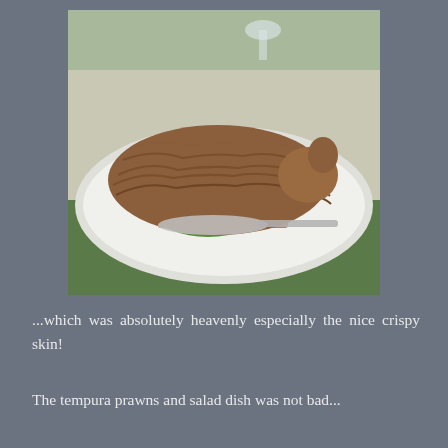[Figure (photo): A whole roasted duck or similar poultry dish served on a white oval plate, with layered crispy brown skin sliced to reveal meat underneath. Green vegetables and orange carrots are visible beneath the meat. A serving spoon is tucked under the dish. The plate sits on a table with glassware visible in the background.]
...which was absolutely heavenly especially the nice crispy skin!
The tempura prawns and salad dish was not bad...